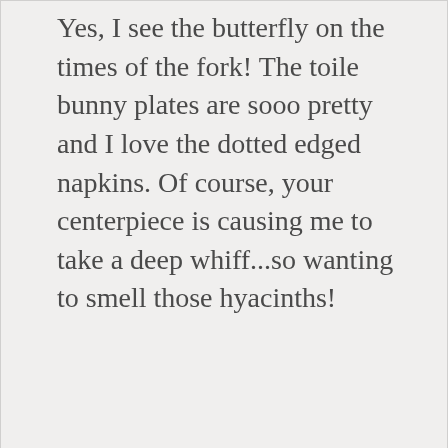Yes, I see the butterfly on the times of the fork! The toile bunny plates are sooo pretty and I love the dotted edged napkins. Of course, your centerpiece is causing me to take a deep whiff...so wanting to smell those hyacinths!
★ Loading...
Reply
Privacy & Cookies: This site uses cookies. By continuing to use this website, you agree to their use.
To find out more, including how to control cookies, see here:
Cookie Policy
Close and accept
Marilyn